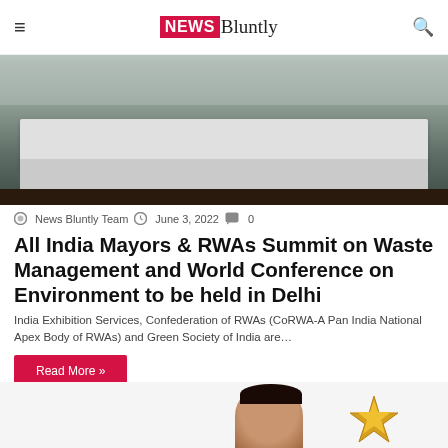NEWS Bluntly
[Figure (photo): Conference scene with people seated at a table covered with a white tablecloth, in a formal meeting room setting.]
News Bluntly Team  June 3, 2022  0
All India Mayors & RWAs Summit on Waste Management and World Conference on Environment to be held in Delhi
India Exhibition Services, Confederation of RWAs (CoRWA-A Pan India National Apex Body of RWAs) and Green Society of India are…
Read More »
[Figure (photo): Partial view of a person's head and a gold star award/trophy, visible at the bottom of the page.]